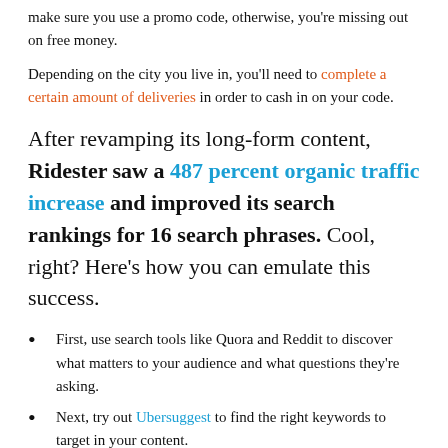make sure you use a promo code, otherwise, you're missing out on free money.
Depending on the city you live in, you'll need to complete a certain amount of deliveries in order to cash in on your code.
After revamping its long-form content, Ridester saw a 487 percent organic traffic increase and improved its search rankings for 16 search phrases. Cool, right? Here's how you can emulate this success.
First, use search tools like Quora and Reddit to discover what matters to your audience and what questions they're asking.
Next, try out Ubersuggest to find the right keywords to target in your content.
Do some competitor research. Where are the...